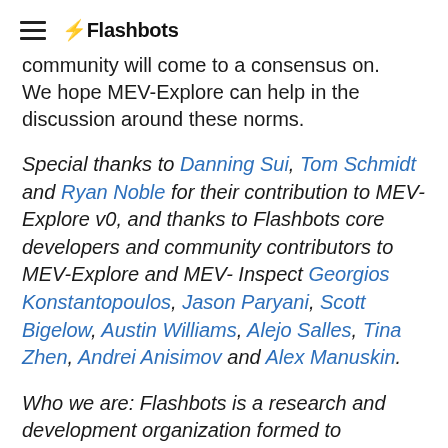⚡Flashbots
community will come to a consensus on. We hope MEV-Explore can help in the discussion around these norms.
Special thanks to Danning Sui, Tom Schmidt and Ryan Noble for their contribution to MEV-Explore v0, and thanks to Flashbots core developers and community contributors to MEV-Explore and MEV-Inspect Georgios Konstantopoulos, Jason Paryani, Scott Bigelow, Austin Williams, Alejo Salles, Tina Zhen, Andrei Anisimov and Alex Manuskin.
Who we are: Flashbots is a research and development organization formed to